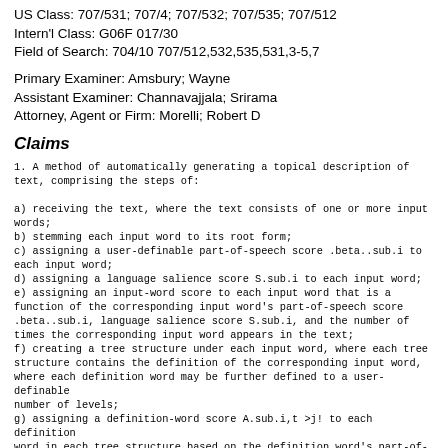US Class: 707/531; 707/4; 707/532; 707/535; 707/512
Intern'l Class: G06F 017/30
Field of Search: 704/10 707/512,532,535,531,3-5,7
Primary Examiner: Amsbury; Wayne
Assistant Examiner: Channavajjala; Srirama
Attorney, Agent or Firm: Morelli; Robert D
Claims
1. A method of automatically generating a topical description of text, comprising the steps of:
a) receiving the text, where the text consists of one or more input words;
b) stemming each input word to its root form;
c) assigning a user-definable part-of-speech score .beta..sub.i to each input word;
d) assigning a language salience score S.sub.i to each input word;
e) assigning an input-word score to each input word that is a function of the corresponding input word's part-of-speech score .beta..sub.i, language salience score S.sub.i, and the number of times the corresponding input word appears in the text;
f) creating a tree structure under each input word, where each tree structure contains the definition of the corresponding input word, where each definition word may be further defined to a user-definable number of levels;
g) assigning a definition-word score A.sub.i,t >j! to each definition word in each tree structure based on the definition word's part-of-speech score .beta..sub.j, the language salience score of the word the definition word defines, a relational salience score R.sub.k,j, and a user-definable factor W;
h) collapsing each tree structure to a corresponding tree word list